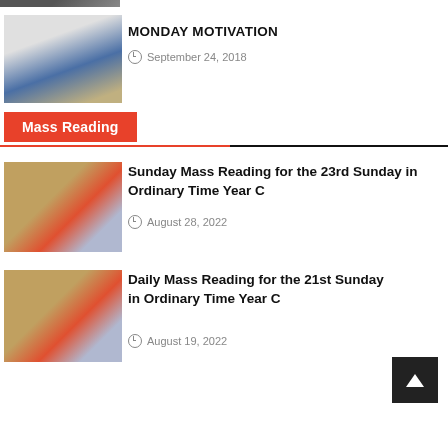[Figure (photo): Partial cropped photo at top of page]
[Figure (photo): Smiling woman with long dark hair wearing blue sweater]
MONDAY MOTIVATION
September 24, 2018
Mass Reading
[Figure (photo): Bible or missal wrapped with red ribbon and gold decorations]
Sunday Mass Reading for the 23rd Sunday in Ordinary Time Year C
August 28, 2022
[Figure (photo): Bible or missal wrapped with red ribbon and gold decorations]
Daily Mass Reading for the 21st Sunday in Ordinary Time Year C
August 19, 2022